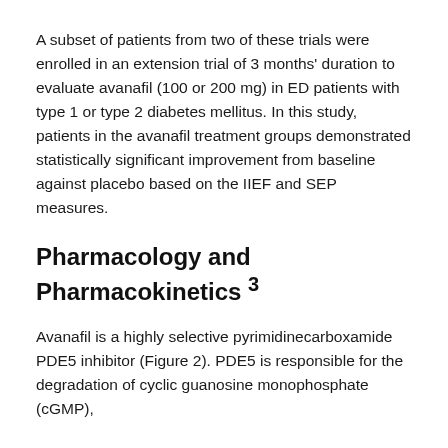A subset of patients from two of these trials were enrolled in an extension trial of 3 months' duration to evaluate avanafil (100 or 200 mg) in ED patients with type 1 or type 2 diabetes mellitus. In this study, patients in the avanafil treatment groups demonstrated statistically significant improvement from baseline against placebo based on the IIEF and SEP measures.
Pharmacology and Pharmacokinetics 3
Avanafil is a highly selective pyrimidinecarboxamide PDE5 inhibitor (Figure 2). PDE5 is responsible for the degradation of cyclic guanosine monophosphate (cGMP),